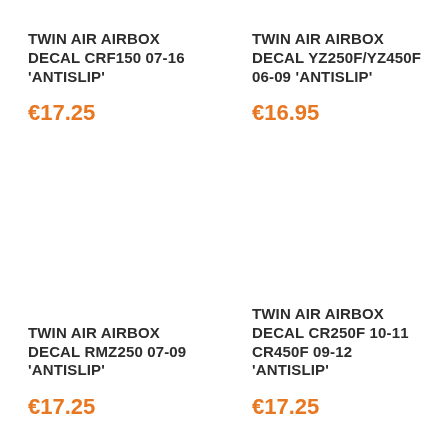TWIN AIR AIRBOX DECAL CRF150 07-16 'ANTISLIP'
€17.25
TWIN AIR AIRBOX DECAL YZ250F/YZ450F 06-09 'ANTISLIP'
€16.95
TWIN AIR AIRBOX DECAL RMZ250 07-09 'ANTISLIP'
€17.25
TWIN AIR AIRBOX DECAL CR250F 10-11 CR450F 09-12 'ANTISLIP'
€17.25